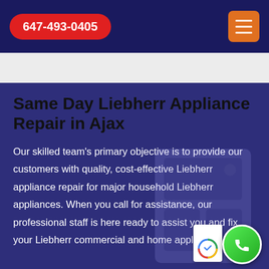647-493-0405
Same Day Liebherr Appliance Repair in Ajax
Our skilled team's primary objective is to provide our customers with quality, cost-effective Liebherr appliance repair for major household Liebherr appliances. When you call for assistance, our professional staff is here ready to assist you and fix your Liebherr commercial and home appliances anywhere in the city at this